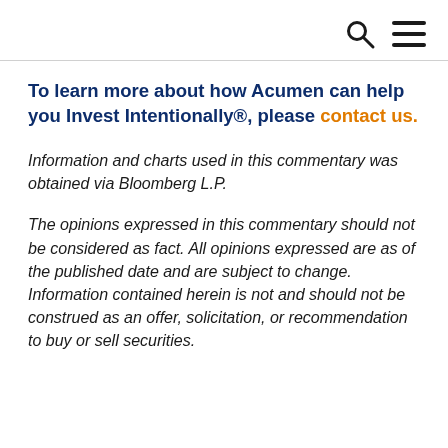🔍 ≡
To learn more about how Acumen can help you Invest Intentionally®, please contact us.
Information and charts used in this commentary was obtained via Bloomberg L.P.
The opinions expressed in this commentary should not be considered as fact. All opinions expressed are as of the published date and are subject to change. Information contained herein is not and should not be construed as an offer, solicitation, or recommendation to buy or sell securities.